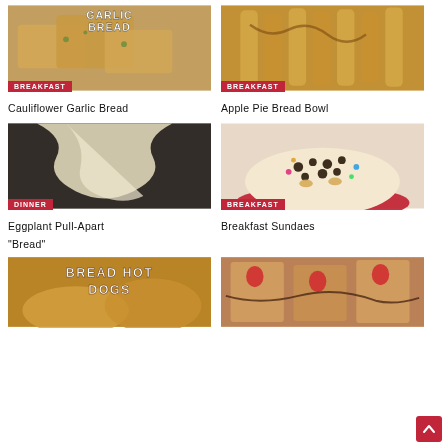[Figure (photo): Cauliflower Garlic Bread food photo with BREAKFAST badge]
[Figure (photo): Apple Pie Bread Bowl food photo with BREAKFAST badge]
Cauliflower Garlic Bread
Apple Pie Bread Bowl
[Figure (photo): Eggplant Pull-Apart Bread food photo with DINNER badge]
[Figure (photo): Breakfast Sundaes food photo with BREAKFAST badge]
Eggplant Pull-Apart "Bread"
Breakfast Sundaes
[Figure (photo): Bread Hot Dogs food photo (partial, bottom of page)]
[Figure (photo): Strawberry topped bread/toast food photo (partial, bottom of page)]